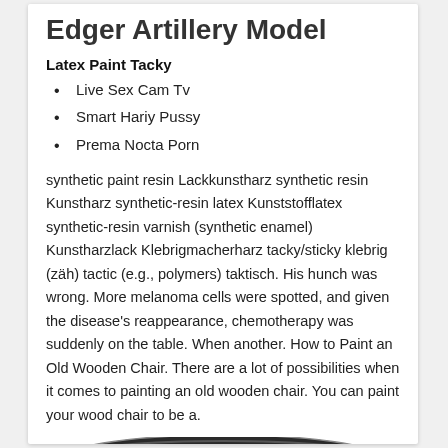Edger Artillery Model
Latex Paint Tacky
Live Sex Cam Tv
Smart Hariy Pussy
Prema Nocta Porn
synthetic paint resin Lackkunstharz synthetic resin Kunstharz synthetic-resin latex Kunststofflatex synthetic-resin varnish (synthetic enamel) Kunstharzlack Klebrigmacherharz tacky/sticky klebrig (zäh) tactic (e.g., polymers) taktisch. His hunch was wrong. More melanoma cells were spotted, and given the disease's reappearance, chemotherapy was suddenly on the table. When another. How to Paint an Old Wooden Chair. There are a lot of possibilities when it comes to painting an old wooden chair. You can paint your wood chair to be a.
[Figure (photo): Partial view of a round dark-colored device (speaker or similar cylindrical object) cropped at the bottom of the page.]